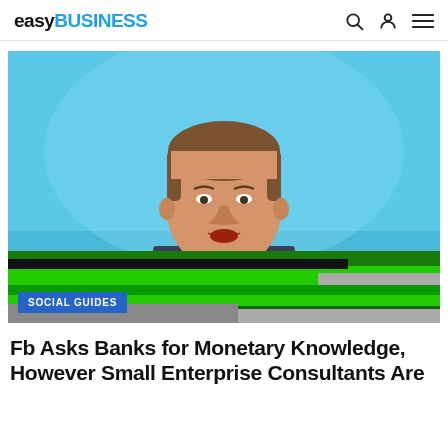easyBUSINESS
[Figure (photo): Photo of Mark Zuckerberg speaking at a conference against a blue background, with green and gray graphic overlays at the bottom portion of the image]
SOCIAL GUIDES
Fb Asks Banks for Monetary Knowledge, However Small Enterprise Consultants Are